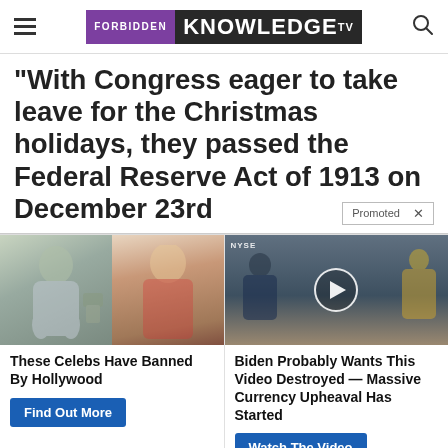FORBIDDEN KNOWLEDGE TV
“With Congress eager to take leave for the Christmas holidays, they passed the Federal Reserve Act of 1913 on December 23rd
[Figure (photo): Ad card left: two celebrity photos side by side (woman in sweater outdoors, blonde woman in red top)]
These Celebs Have Banned By Hollywood
Find Out More
[Figure (screenshot): Ad card right: video thumbnail of TV studio/NYSE segment with play button overlay]
Biden Probably Wants This Video Destroyed — Massive Currency Upheaval Has Started
Watch The Video